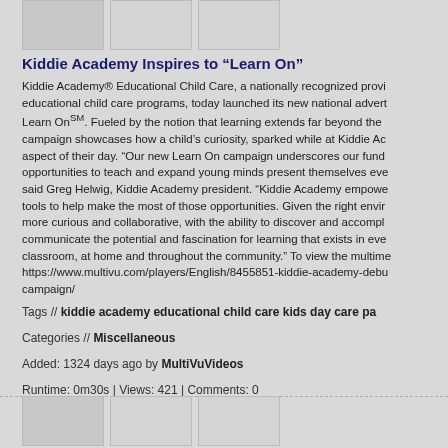[Figure (photo): Three thumbnail images at the top of the first video entry]
Kiddie Academy Inspires to “Learn On”
Kiddie Academy® Educational Child Care, a nationally recognized provi educational child care programs, today launched its new national advert Learn OnSM. Fueled by the notion that learning extends far beyond the campaign showcases how a child’s curiosity, sparked while at Kiddie Ac aspect of their day. “Our new Learn On campaign underscores our fund opportunities to teach and expand young minds present themselves eve said Greg Helwig, Kiddie Academy president. “Kiddie Academy empowe tools to help make the most of those opportunities. Given the right envir more curious and collaborative, with the ability to discover and accompl communicate the potential and fascination for learning that exists in eve classroom, at home and throughout the community.” To view the multime https://www.multivu.com/players/English/8455851-kiddie-academy-debu campaign/
Tags // kiddie academy educational child care kids day care pa
Categories // Miscellaneous
Added: 1324 days ago by MultiVuVideos
Runtime: 0m30s | Views: 421 | Comments: 0
Not yet rated
[Figure (photo): Three thumbnail images for the second video entry about Jenny Craig]
Jenny Craig 2019 Campaign Celebrates Success of Real L
Jenny Craig, a leader in the weight loss industry, announced today thei